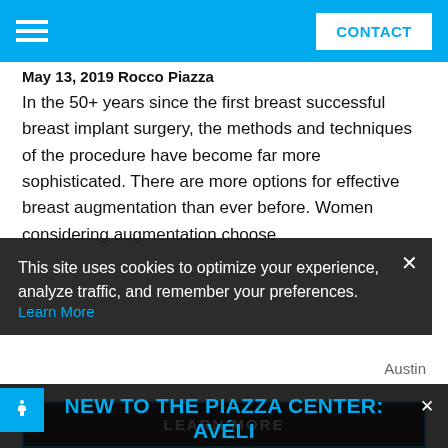CONTACT
May 13, 2019 Rocco Piazza
In the 50+ years since the first breast successful breast implant surgery, the methods and techniques of the procedure have become far more sophisticated. There are more options for effective breast augmentation than ever before. Women considering augmentation choose Austin
This site uses cookies to optimize your experience, analyze traffic, and remember your preferences. Learn More ×
NEW TO THE PIAZZA CENTER: AVÉLI
The most effective treatment for cellulite.
Read More
LEARN MORE